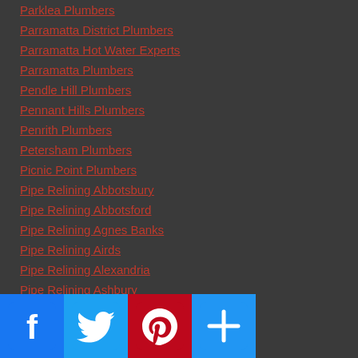Parklea Plumbers
Parramatta District Plumbers
Parramatta Hot Water Experts
Parramatta Plumbers
Pendle Hill Plumbers
Pennant Hills Plumbers
Penrith Plumbers
Petersham Plumbers
Picnic Point Plumbers
Pipe Relining Abbotsbury
Pipe Relining Abbotsford
Pipe Relining Agnes Banks
Pipe Relining Airds
Pipe Relining Alexandria
Pipe Relining Ashbury
Pipe Relining Ashcroft
Pipe Relining Auburn
Pipe Relining Austral
Pipe Relining Bangor
[Figure (other): Social media share buttons: Facebook, Twitter, Pinterest, and a generic share/add button]